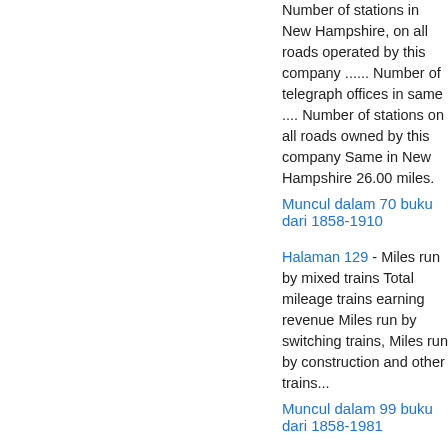Number of stations in New Hampshire, on all roads operated by this company ...... Number of telegraph offices in same .... Number of stations on all roads owned by this company Same in New Hampshire 26.00 miles.
Muncul dalam 70 buku dari 1858-1910
Halaman 129 - Miles run by mixed trains Total mileage trains earning revenue Miles run by switching trains, Miles run by construction and other trains...
Muncul dalam 99 buku dari 1858-1981
Halaman i - Every other